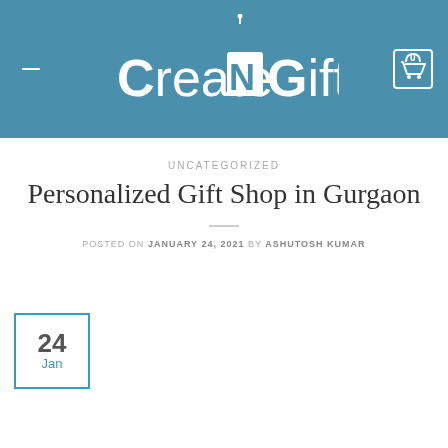CreateNGift
UNCATEGORIZED
Personalized Gift Shop in Gurgaon
POSTED ON JANUARY 24, 2021 BY ASHUTOSH KUMAR
[Figure (other): Date box showing 24 Jan in teal border]